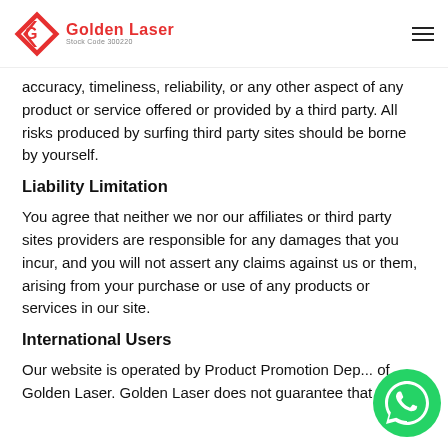Golden Laser — Stock Code 300220
accuracy, timeliness, reliability, or any other aspect of any product or service offered or provided by a third party. All risks produced by surfing third party sites should be borne by yourself.
Liability Limitation
You agree that neither we nor our affiliates or third party sites providers are responsible for any damages that you incur, and you will not assert any claims against us or them, arising from your purchase or use of any products or services in our site.
International Users
Our website is operated by Product Promotion Dep... of Golden Laser. Golden Laser does not guarantee that